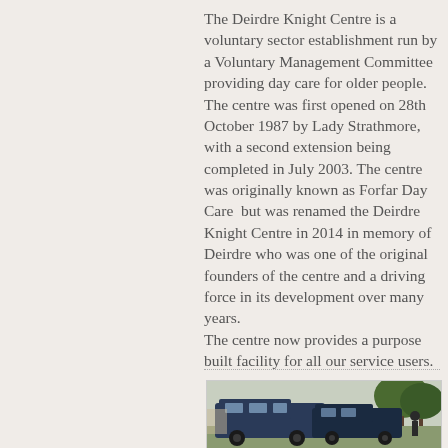The Deirdre Knight Centre is a voluntary sector establishment run by a Voluntary Management Committee providing day care for older people. The centre was first opened on 28th October 1987 by Lady Strathmore, with a second extension being completed in July 2003. The centre was originally known as Forfar Day Care but was renamed the Deirdre Knight Centre in 2014 in memory of Deirdre who was one of the original founders of the centre and a driving force in its development over many years. The centre now provides a purpose built facility for all our service users.
[Figure (photo): Photograph showing minibuses/vans parked outside a building with trees in background]